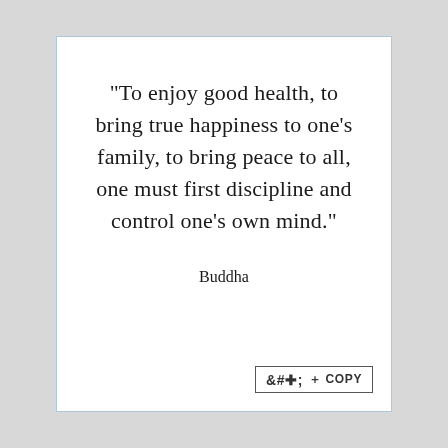"To enjoy good health, to bring true happiness to one's family, to bring peace to all, one must first discipline and control one's own mind."
Buddha